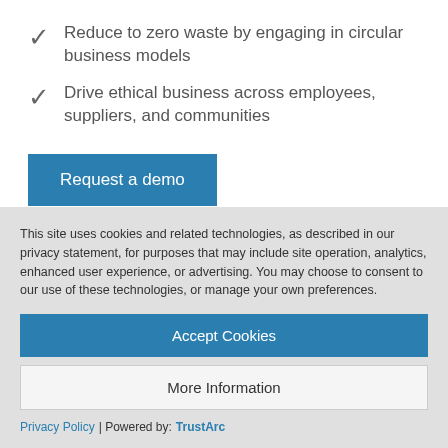Reduce to zero waste by engaging in circular business models
Drive ethical business across employees, suppliers, and communities
Request a demo
This site uses cookies and related technologies, as described in our privacy statement, for purposes that may include site operation, analytics, enhanced user experience, or advertising. You may choose to consent to our use of these technologies, or manage your own preferences.
Accept Cookies
More Information
Privacy Policy | Powered by: TrustArc